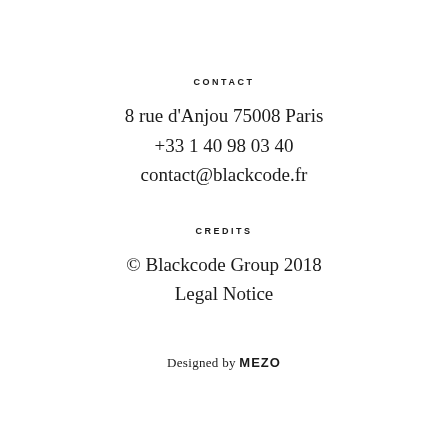CONTACT
8 rue d'Anjou 75008 Paris
+33 1 40 98 03 40
contact@blackcode.fr
CREDITS
© Blackcode Group 2018
Legal Notice
Designed by MEZO